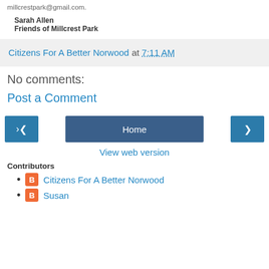millcrestpark@gmail.com.
Sarah Allen
Friends of Millcrest Park
Citizens For A Better Norwood at 7:11 AM
No comments:
Post a Comment
Home
View web version
Contributors
Citizens For A Better Norwood
Susan